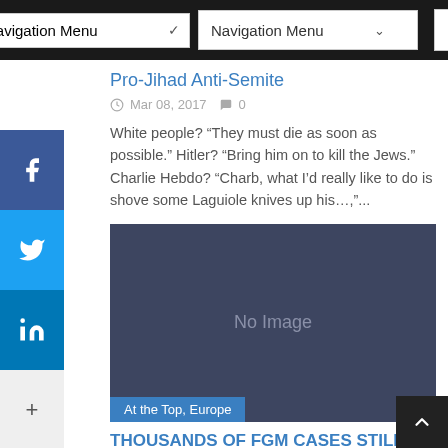Navigation Menu
Pro-Jihad Anti-Semite
Mar 08, 2017   0
White people? “They must die as soon as possible.” Hitler? “Bring him on to kill the Jews.” Charlie Hebdo? “Charb, what I’d really like to do is shove some Laguiole knives up his…,”...
[Figure (other): No Image placeholder with dark blue-grey background and category tag 'At the Top, Europe']
THOUSANDS OF FGM CASES STILL TAKING PLACE IN